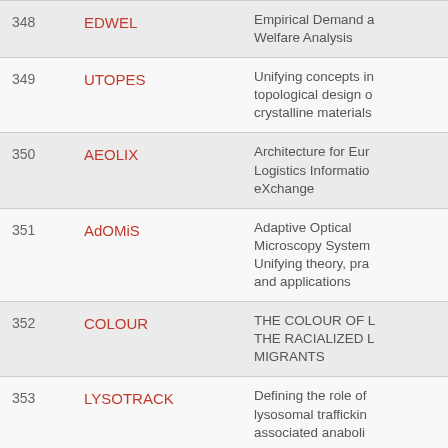| # | Acronym | Description |
| --- | --- | --- |
| 348 | EDWEL | Empirical Demand and Welfare Analysis |
| 349 | UTOPES | Unifying concepts in topological design of crystalline materials |
| 350 | AEOLIX | Architecture for European Logistics Information eXchange |
| 351 | AdOMiS | Adaptive Optical Microscopy System: Unifying theory, practice and applications |
| 352 | COLOUR | THE COLOUR OF L... THE RACIALIZED L... MIGRANTS |
| 353 | LYSOTRACK | Defining the role of lysosomal trafficking associated anabolism... |